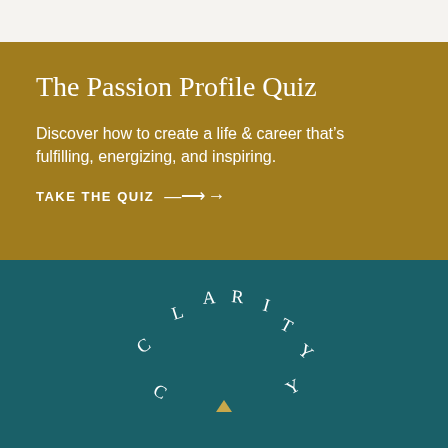The Passion Profile Quiz
Discover how to create a life & career that's fulfilling, energizing, and inspiring.
TAKE THE QUIZ →
[Figure (logo): CLARITY brand logo with letters arranged in a circular arc on a teal background, with a small upward-pointing arrow/chevron in the center bottom]
We use cookies to ensure that we give you the best experience on our website. If you continue to use this site we will assume that you are happy with it.
Accept
Privacy Policy